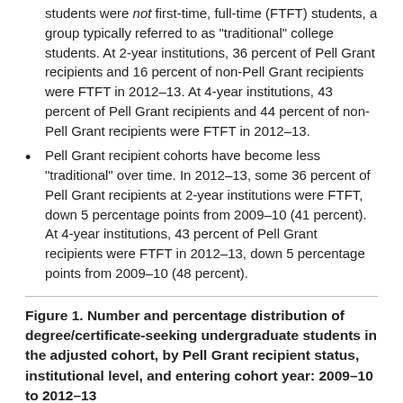students were not first-time, full-time (FTFT) students, a group typically referred to as "traditional" college students. At 2-year institutions, 36 percent of Pell Grant recipients and 16 percent of non-Pell Grant recipients were FTFT in 2012–13. At 4-year institutions, 43 percent of Pell Grant recipients and 44 percent of non-Pell Grant recipients were FTFT in 2012–13.
Pell Grant recipient cohorts have become less "traditional" over time. In 2012–13, some 36 percent of Pell Grant recipients at 2-year institutions were FTFT, down 5 percentage points from 2009–10 (41 percent). At 4-year institutions, 43 percent of Pell Grant recipients were FTFT in 2012–13, down 5 percentage points from 2009–10 (48 percent).
Figure 1. Number and percentage distribution of degree/certificate-seeking undergraduate students in the adjusted cohort, by Pell Grant recipient status, institutional level, and entering cohort year: 2009–10 to 2012–13